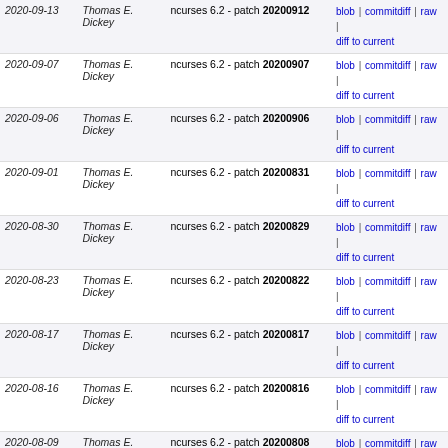| Date | Author | Commit message | Actions |
| --- | --- | --- | --- |
| 2020-09-13 | Thomas E. Dickey | ncurses 6.2 - patch 20200912 | blob | commitdiff | raw | diff to current |
| 2020-09-07 | Thomas E. Dickey | ncurses 6.2 - patch 20200907 | blob | commitdiff | raw | diff to current |
| 2020-09-06 | Thomas E. Dickey | ncurses 6.2 - patch 20200906 | blob | commitdiff | raw | diff to current |
| 2020-09-01 | Thomas E. Dickey | ncurses 6.2 - patch 20200831 | blob | commitdiff | raw | diff to current |
| 2020-08-30 | Thomas E. Dickey | ncurses 6.2 - patch 20200829 | blob | commitdiff | raw | diff to current |
| 2020-08-23 | Thomas E. Dickey | ncurses 6.2 - patch 20200822 | blob | commitdiff | raw | diff to current |
| 2020-08-17 | Thomas E. Dickey | ncurses 6.2 - patch 20200817 | blob | commitdiff | raw | diff to current |
| 2020-08-16 | Thomas E. Dickey | ncurses 6.2 - patch 20200816 | blob | commitdiff | raw | diff to current |
| 2020-08-09 | Thomas E. Dickey | ncurses 6.2 - patch 20200808 | blob | commitdiff | raw | diff to current |
| 2020-08-01 | Thomas E. Dickey | ncurses 6.2 - patch 20200801 | blob | commitdiff | raw | diff to current |
| 2020-07-26 | Thomas E. Dickey | ncurses 6.2 - patch 20200725 | blob | commitdiff | raw | diff to current |
| 2020-07-18 | Thomas E. Dickey | ncurses 6.2 - patch 20200718 | blob | commitdiff | raw | diff to current |
| 2020-07-12 | Thomas E. Dickey | ncurses 6.2 - patch 20200711 | blob | commitdiff | raw | diff to current |